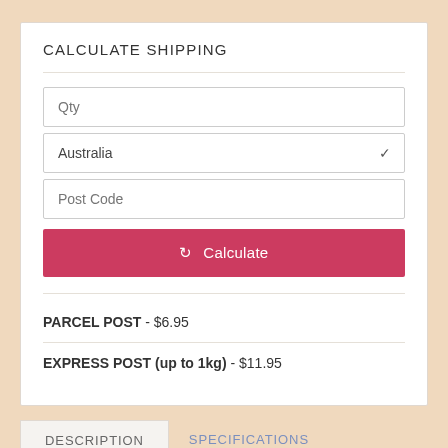CALCULATE SHIPPING
Qty
Australia
Post Code
Calculate
PARCEL POST - $6.95
EXPRESS POST (up to 1kg) - $11.95
DESCRIPTION
SPECIFICATIONS